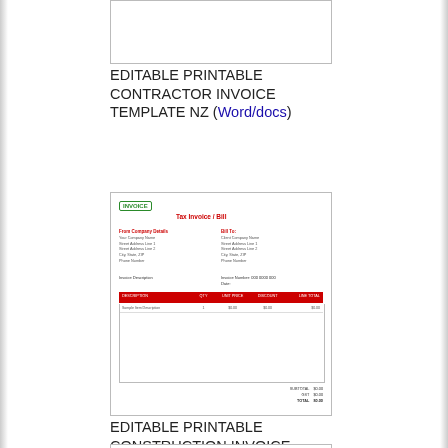[Figure (screenshot): Partial thumbnail of a contractor invoice template (top portion cut off), showing a blank/white rectangle with border.]
EDITABLE PRINTABLE CONTRACTOR INVOICE TEMPLATE NZ (Word/docs)
[Figure (screenshot): Preview image of an editable printable construction invoice template. Shows a logo, title 'Tax Invoice', from/to address fields, and a table with red header row containing columns for description, quantity, rate, amount, and total. Subtotal, GST, and Total lines appear at bottom right.]
EDITABLE PRINTABLE CONSTRUCTION INVOICE TEMPLATE NZ (Excel/sheets)
[Figure (screenshot): Partial thumbnail of another invoice template (bottom portion, partially visible).]